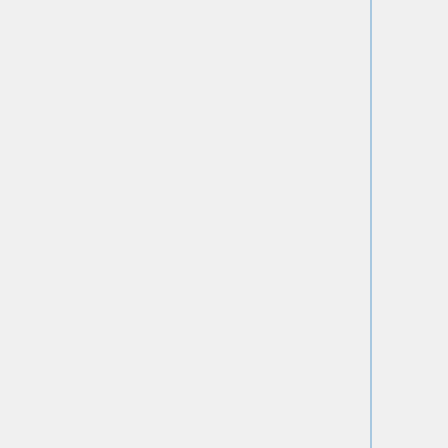| Field | Content |
| --- | --- |
|  | provides useful feedback to attempt to use an Information Selector or Browser Add-On |
| Role tested | bgcolor={{{color}}}}}|Information Browser Add-On |
| Known Successful Reference Solution(s) | bgcolor={{{color}}}}}|{{ #if: | [[I4:]]}}{{ #if: | [[I4:]]}} {{ #if: http://pamelaproject.com/osi | http://pamelaproject.com/osi }} {{ #if: | }} {{ #if: | }} |
| Success Criteria | bgcolor={{{color}}}}}|User is given actionable message, preferably telling them how to install an Identity... |
| Failure Criteria | bgcolor={{{color}}}}}|No actionable and/or site appears to be broken... |